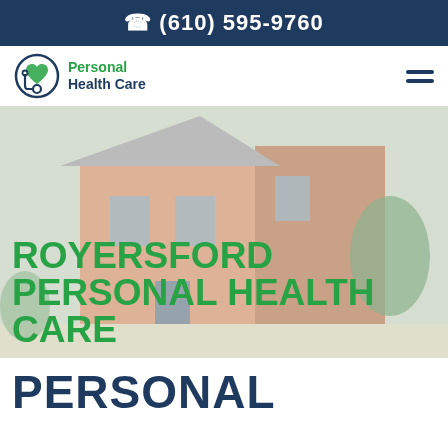(610) 595-9760
[Figure (logo): Personal Health Care logo with circular stethoscope/heart icon and company name]
[Figure (photo): Exterior photo of a residential/care facility building with wood siding, slightly faded with white overlay]
ROYERSFORD PERSONAL HEALTH CARE
PERSONAL